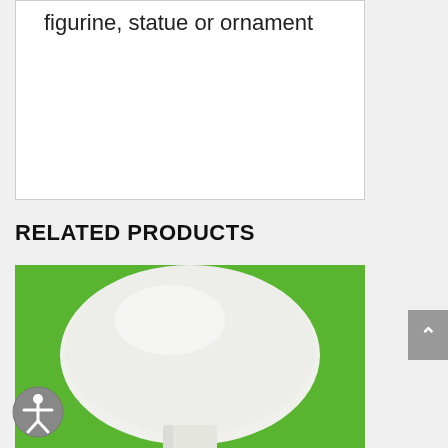figurine, statue or ornament
RELATED PRODUCTS
[Figure (photo): A white ceramic or resin mushroom-shaped figurine/ornament photographed on a bright green background. The object has a smooth, rounded dome top and a short stem visible at the bottom.]